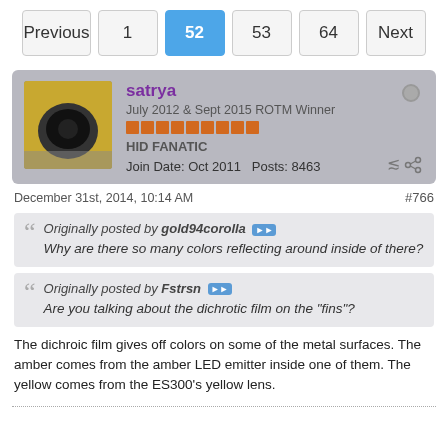Previous | 1 | 52 | 53 | 64 | Next
satrya
July 2012 & Sept 2015 ROTM Winner
HID FANATIC
Join Date: Oct 2011   Posts: 8463
December 31st, 2014, 10:14 AM
#766
Originally posted by gold94corolla
Why are there so many colors reflecting around inside of there?
Originally posted by Fstrsn
Are you talking about the dichrotic film on the "fins"?
The dichroic film gives off colors on some of the metal surfaces. The amber comes from the amber LED emitter inside one of them. The yellow comes from the ES300's yellow lens.